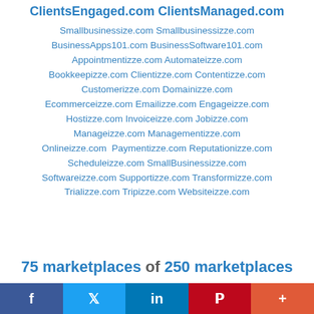ClientsEngaged.com ClientsManaged.com
Smallbusinessize.com Smallbusinessizze.com BusinessApps101.com BusinessSoftware101.com Appointmentizze.com Automateizze.com Bookkeepizze.com Clientizze.com Contentizze.com Customerizze.com Domainizze.com Ecommerceizze.com Emailizze.com Engageizze.com Hostizze.com Invoiceizze.com Jobizze.com Manageizze.com Managementizze.com Onlineizze.com Paymentizze.com Reputationizze.com Scheduleizze.com SmallBusinessizze.com Softwareizze.com Supportizze.com Transformizze.com Trializze.com Tripizze.com Websiteizze.com
75 marketplaces of 250 marketplaces
[Figure (other): Social media share bar with Facebook, Twitter, LinkedIn, Pinterest, and More buttons]